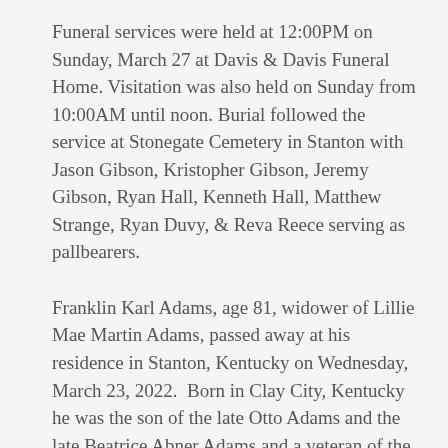Funeral services were held at 12:00PM on Sunday, March 27 at Davis & Davis Funeral Home. Visitation was also held on Sunday from 10:00AM until noon. Burial followed the service at Stonegate Cemetery in Stanton with Jason Gibson, Kristopher Gibson, Jeremy Gibson, Ryan Hall, Kenneth Hall, Matthew Strange, Ryan Duvy, & Reva Reece serving as pallbearers.
Franklin Karl Adams, age 81, widower of Lillie Mae Martin Adams, passed away at his residence in Stanton, Kentucky on Wednesday, March 23, 2022.  Born in Clay City, Kentucky he was the son of the late Otto Adams and the late Beatrice Abner Adams and a veteran of the U.S Air Force.  Karl was a machinist with